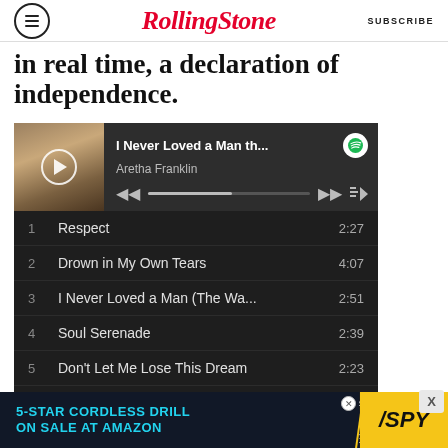RollingStone | SUBSCRIBE
in real time, a declaration of independence.
[Figure (screenshot): Spotify player widget showing 'I Never Loved a Man th...' by Aretha Franklin with playback controls and progress bar]
1   Respect   2:27
2   Drown in My Own Tears   4:07
3   I Never Loved a Man (The Wa...   2:51
4   Soul Serenade   2:39
5   Don't Let Me Lose This Dream   2:23
6   Baby, Baby, Baby   2:54
7   Dr. Feelgood (Love Is a Serious...   3:23
[Figure (other): Advertisement banner: 5-STAR CORDLESS DRILL ON SALE AT AMAZON / SPY]